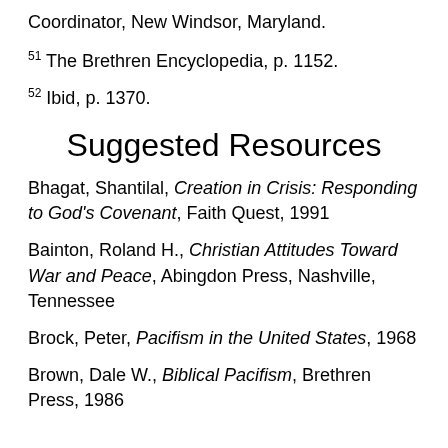Coordinator, New Windsor, Maryland.
51 The Brethren Encyclopedia, p. 1152.
52 Ibid, p. 1370.
Suggested Resources
Bhagat, Shantilal, Creation in Crisis: Responding to God's Covenant, Faith Quest, 1991
Bainton, Roland H., Christian Attitudes Toward War and Peace, Abingdon Press, Nashville, Tennessee
Brock, Peter, Pacifism in the United States, 1968
Brown, Dale W., Biblical Pacifism, Brethren Press, 1986